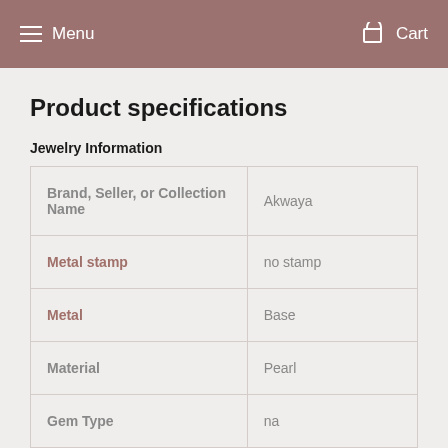Menu  Cart
Product specifications
Jewelry Information
|  |  |
| --- | --- |
| Brand, Seller, or Collection Name | Akwaya |
| Metal stamp | no stamp |
| Metal | Base |
| Material | Pearl |
| Gem Type | na |